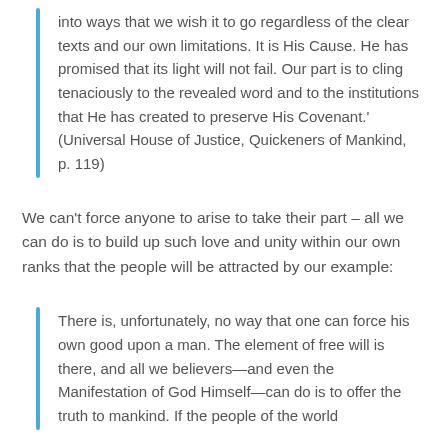into ways that we wish it to go regardless of the clear texts and our own limitations. It is His Cause. He has promised that its light will not fail. Our part is to cling tenaciously to the revealed word and to the institutions that He has created to preserve His Covenant.' (Universal House of Justice, Quickeners of Mankind, p. 119)
We can't force anyone to arise to take their part – all we can do is to build up such love and unity within our own ranks that the people will be attracted by our example:
There is, unfortunately, no way that one can force his own good upon a man. The element of free will is there, and all we believers—and even the Manifestation of God Himself—can do is to offer the truth to mankind. If the people of the world